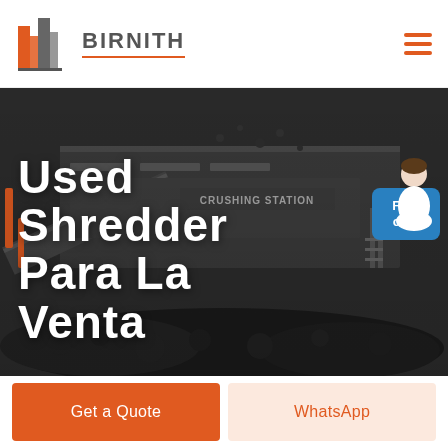[Figure (logo): Birnith company logo with orange building icon and company name in gray uppercase letters with orange underline]
[Figure (photo): Industrial crushing station machinery with coal/aggregate material in dark gray tones, showing 'CRUSHING STATION' text on the equipment]
Used Shredder Para La Venta
Free chat
Get a Quote
WhatsApp